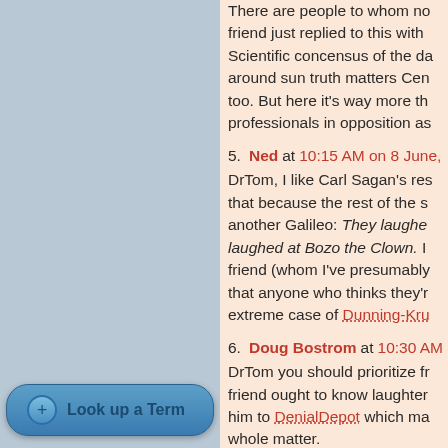There are people to whom no friend just replied to this with Scientific concensus of the day around sun truth matters Cen too. But here it's way more th professionals in opposition as
5. Ned at 10:15 AM on 8 June, — DrTom, I like Carl Sagan's res that because the rest of the s another Galileo: They laughed at Bozo the Clown. I friend (whom I've presumably that anyone who thinks they're extreme case of Dunning-Kru
6. Doug Bostrom at 10:30 AM — DrTom you should prioritize fr friend ought to know laughter him to DenialDepot which ma whole matter.
7. Glenton Jelbert at 17:56 PM — @Poptech Your list of the qua relevant. The whole point is th consensus and body of litera themselves) are either: 1. doi 'debate', but it applies to New
Look up a Term